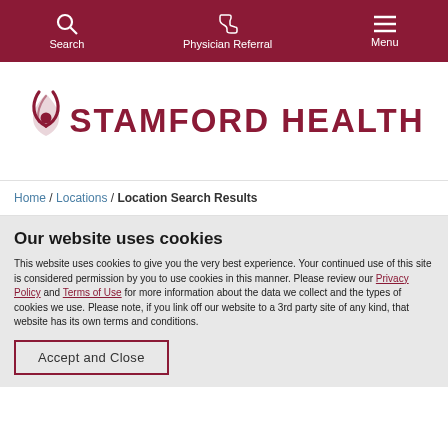Search | Physician Referral | Menu
[Figure (logo): Stamford Health logo with stylized figure icon and text 'STAMFORD HEALTH' in dark red/maroon]
Home / Locations / Location Search Results
Our website uses cookies
This website uses cookies to give you the very best experience. Your continued use of this site is considered permission by you to use cookies in this manner. Please review our Privacy Policy and Terms of Use for more information about the data we collect and the types of cookies we use. Please note, if you link off our website to a 3rd party site of any kind, that website has its own terms and conditions.
Accept and Close